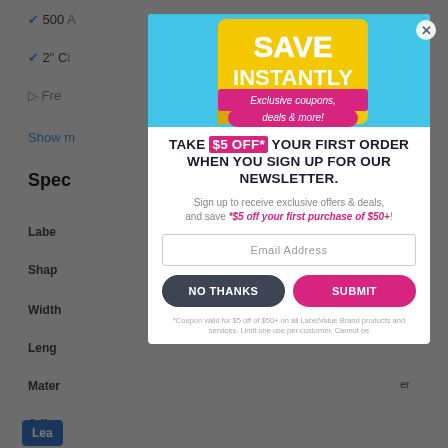[Figure (screenshot): Background webpage showing product listing with checkmarks for '500', '2" C', 'Fre' and 'Show m' link, plus 'Spec' section header and table rows for Label, Shape, Width, Length, Material, Adhesive with a blue button.]
[Figure (infographic): Modal popup with blue sky background banner showing a peeling sticker effect with yellow and pink colors. Text on sticker reads: SAVE INSTANTLY Exclusive coupons, deals & more!]
TAKE $5 OFF* YOUR FIRST ORDER WHEN YOU SIGN UP FOR OUR NEWSLETTER.
Sign up to receive exclusive offers & deals, and save *$5 off your first purchase of $50+!
Email Address
NO THANKS
SUBMIT
*Coupon valid for $5 off of $50+ on all LabelValue Brand products and services. Limit one use per customer. Cannot be